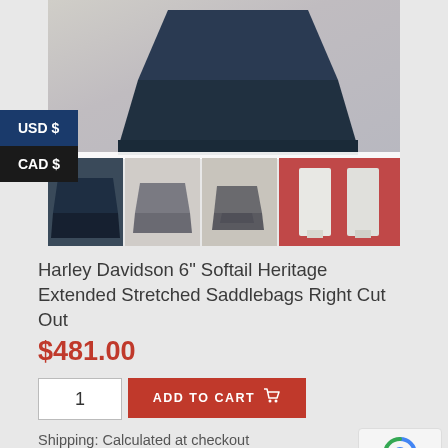[Figure (photo): Product photo mosaic of Harley Davidson Saddlebags — main angled dark blue bag on top, four thumbnail images below showing different angles including a white/grey bag on red background]
Harley Davidson 6" Softail Heritage Extended Stretched Saddlebags Right Cut Out
$481.00
1
ADD TO CART
Shipping: Calculated at checkout
SKU: BB0040